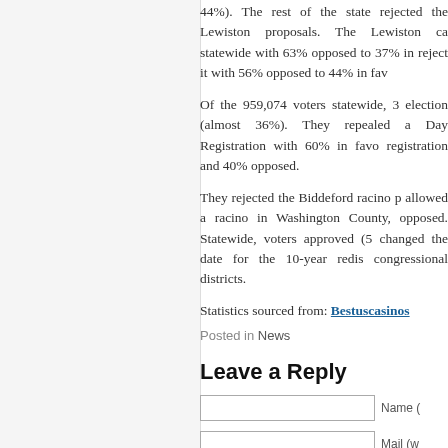44%). The rest of the state rejected the Lewiston proposals. The Lewiston casino lost statewide with 63% opposed to 37% in favor. reject it with 56% opposed to 44% in favor.
Of the 959,074 voters statewide, 34 election (almost 36%). They repealed a Day Registration with 60% in favor registration and 40% opposed.
They rejected the Biddeford racino p allowed a racino in Washington County, opposed. Statewide, voters approved (5 changed the date for the 10-year redis congressional districts.
Statistics sourced from: Bestuscasinos
Posted in News
Leave a Reply
Name (
Mail (w
Websit